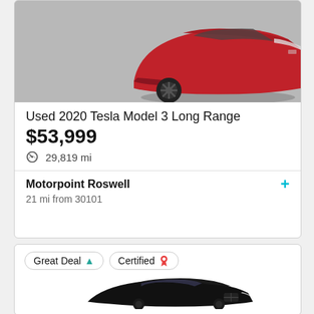[Figure (photo): Red Tesla Model 3 Long Range, front-quarter view showing front bumper and wheel on pavement]
Used 2020 Tesla Model 3 Long Range
$53,999
29,819 mi
Motorpoint Roswell
21 mi from 30101
Great Deal
Certified
[Figure (photo): Black BMW 5 Series sedan, front three-quarter view]